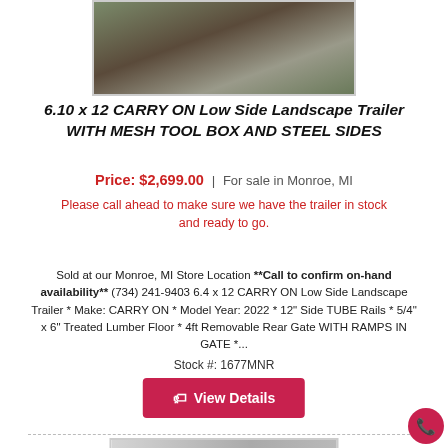[Figure (photo): Partial photo of a landscape trailer with black hitch/tongue visible against gravel/grass background]
6.10 x 12 CARRY ON Low Side Landscape Trailer WITH MESH TOOL BOX AND STEEL SIDES
Price: $2,699.00 | For sale in Monroe, MI
Please call ahead to make sure we have the trailer in stock and ready to go.
Sold at our Monroe, MI Store Location **Call to confirm on-hand availability** (734) 241-9403 6.4 x 12 CARRY ON Low Side Landscape Trailer * Make: CARRY ON * Model Year: 2022 * 12" Side TUBE Rails * 5/4" x 6" Treated Lumber Floor * 4ft Removable Rear Gate WITH RAMPS IN GATE *...
Stock #: 1677MNR
View Details
[Figure (photo): Partial photo of a USA Trailer Sales storefront/lot]